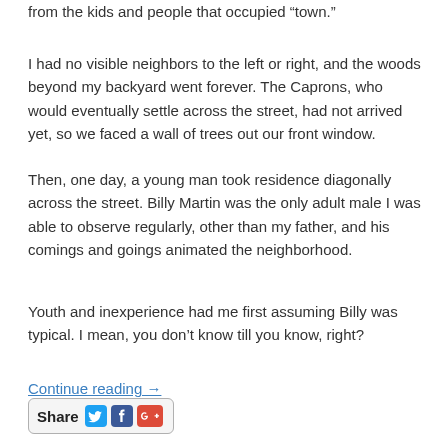from the kids and people that occupied “town.”
I had no visible neighbors to the left or right, and the woods beyond my backyard went forever. The Caprons, who would eventually settle across the street, had not arrived yet, so we faced a wall of trees out our front window.
Then, one day, a young man took residence diagonally across the street. Billy Martin was the only adult male I was able to observe regularly, other than my father, and his comings and goings animated the neighborhood.
Youth and inexperience had me first assuming Billy was typical. I mean, you don’t know till you know, right?
Continue reading →
[Figure (other): Share button with Twitter, Facebook, and Google+ icons]